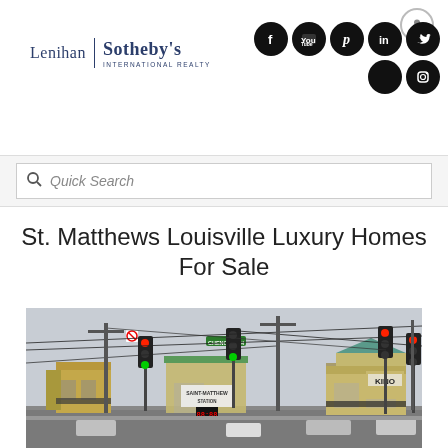[Figure (logo): Lenihan Sotheby's International Realty logo with vertical divider]
[Figure (infographic): Row of social media icon circles: Facebook, YouTube, Pinterest, LinkedIn, Twitter in first row; two more circles (one black filled, one Instagram) in second row. Profile icon circle top right.]
Quick Search
St. Matthews Louisville Luxury Homes For Sale
[Figure (photo): Street scene of St. Matthews Louisville showing commercial buildings, traffic lights, utility lines, and a Saint Matthew Station sign.]